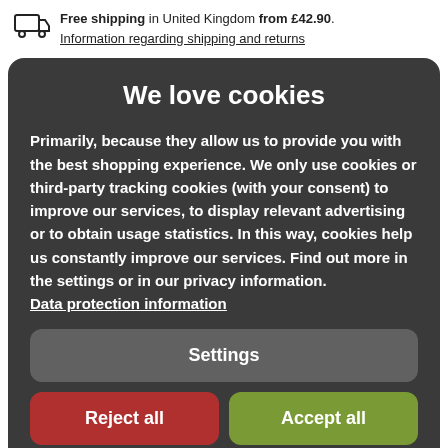Free shipping in United Kingdom from £42.90. Information regarding shipping and returns
We love cookies
Primarily, because they allow us to provide you with the best shopping experience. We only use cookies or third-party tracking cookies (with your consent) to improve our services, to display relevant advertising or to obtain usage statistics. In this way, cookies help us constantly improve our services. Find out more in the settings or in our privacy information. Data protection information
Settings
Reject all
Accept all